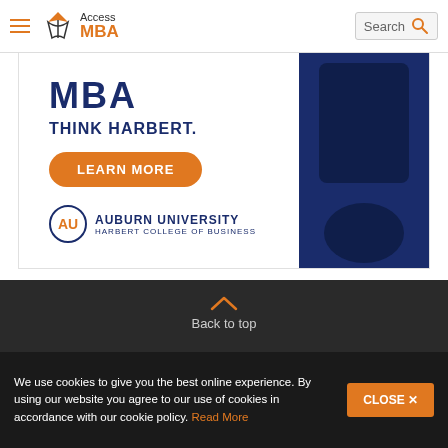Access MBA | Search
[Figure (advertisement): Auburn University Harbert College of Business MBA advertisement with text 'MBA THINK HARBERT.' and orange 'LEARN MORE' button, featuring Auburn University logo]
Back to top
[Figure (logo): Access MASTERS logo in white on dark background]
[Figure (logo): unimy prep logo in white on dark background]
We use cookies to give you the best online experience. By using our website you agree to our use of cookies in accordance with our cookie policy. Read More